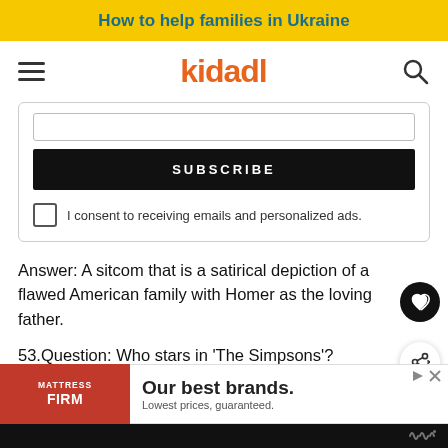How to help families in Ukraine
[Figure (logo): Kidadl logo with hamburger menu and search icon]
[Figure (screenshot): Email subscription form with SUBSCRIBE button and consent checkbox]
Answer: A sitcom that is a satirical depiction of a flawed American family with Homer as the loving father.
53.Question: Who stars in 'The Simpsons'?
Ans
54.
[Figure (infographic): Mattress Firm advertisement: Our best brands. Lowest prices, guaranteed.]